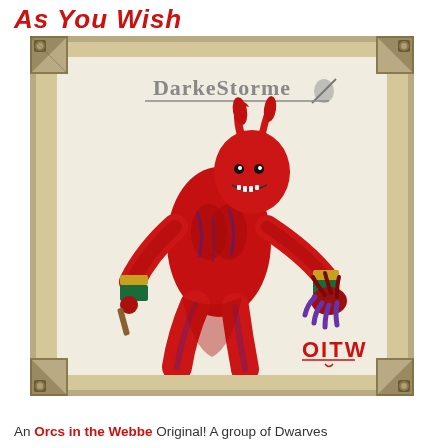As You Wish
[Figure (photo): A painted miniature figure of a red demon/devil creature with horns, muscular body, gold and green bracers, posed aggressively. The DarkeStorme logo appears at the top and OITW watermark at the bottom right. The figure is displayed within a tan/beige decorative frame with corner ornaments.]
An Orcs in the Webbe Original! A group of Dwarves